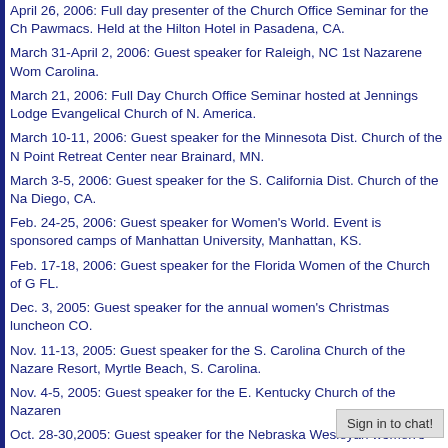April 26, 2006: Full day presenter of the Church Office Seminar for the Church Pawmacs. Held at the Hilton Hotel in Pasadena, CA.
March 31-April 2, 2006: Guest speaker for Raleigh, NC 1st Nazarene Women's Carolina.
March 21, 2006: Full Day Church Office Seminar hosted at Jennings Lodge Evangelical Church of N. America.
March 10-11, 2006: Guest speaker for the Minnesota Dist. Church of the N. Point Retreat Center near Brainard, MN.
March 3-5, 2006: Guest speaker for the S. California Dist. Church of the Na. Diego, CA.
Feb. 24-25, 2006: Guest speaker for Women's World. Event is sponsored camps of Manhattan University, Manhattan, KS.
Feb. 17-18, 2006: Guest speaker for the Florida Women of the Church of G. FL.
Dec. 3, 2005: Guest speaker for the annual women's Christmas luncheon CO.
Nov. 11-13, 2005: Guest speaker for the S. Carolina Church of the Nazare Resort, Myrtle Beach, S. Carolina.
Nov. 4-5, 2005: Guest speaker for the E. Kentucky Church of the Nazaren
Oct. 28-30,2005: Guest speaker for the Nebraska Wesleyan women's retre
Oct. 21-23, 2005: Guest speaker for the SE Alaska inter-denominational w. Church in Ketchikan, AK.
Oct. 14-15, 2005: Guest speaker for the Na...